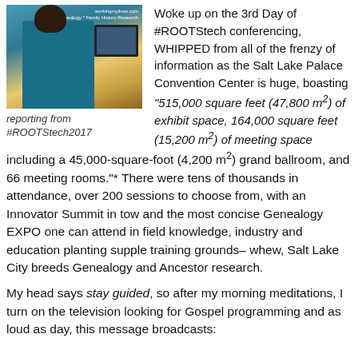[Figure (photo): Person sitting at a desk working on a computer, viewed from behind, wearing a teal/blue top with colorful scarf. Watermark text: workingmylines.com / Genealogy * Family History Research]
reporting from
#ROOTStech2017
Woke up on the 3rd Day of #ROOTStech conferencing, WHIPPED from all of the frenzy of information as the Salt Lake Palace Convention Center is huge, boasting "515,000 square feet (47,800 m²) of exhibit space, 164,000 square feet (15,200 m²) of meeting space including a 45,000-square-foot (4,200 m²) grand ballroom, and 66 meeting rooms."* There were tens of thousands in attendance, over 200 sessions to choose from, with an Innovator Summit in tow and the most concise Genealogy EXPO one can attend in field knowledge, industry and education planting supple training grounds– whew, Salt Lake City breeds Genealogy and Ancestor research.
My head says stay guided, so after my morning meditations, I turn on the television looking for Gospel programming and as loud as day, this message broadcasts: